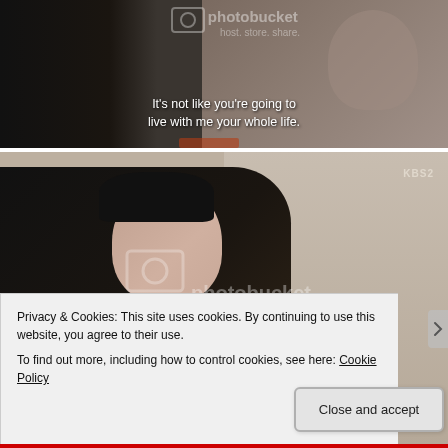[Figure (screenshot): Screenshot from a Korean drama/TV show showing a woman with glasses wearing a grey top, with subtitle text 'It's not like you're going to live with me your whole life.' and a Photobucket watermark overlay.]
[Figure (screenshot): Screenshot from Korean drama on KBS2 channel showing a young man in a dark top looking to the side, with a Photobucket watermark overlay.]
Privacy & Cookies: This site uses cookies. By continuing to use this website, you agree to their use.
To find out more, including how to control cookies, see here: Cookie Policy
Close and accept